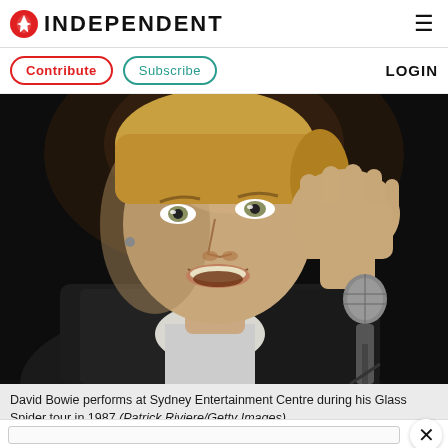INDEPENDENT
[Figure (logo): The Independent newspaper logo with red eagle icon and INDEPENDENT text in bold uppercase]
Contribute  Subscribe  LOGIN
[Figure (photo): David Bowie performs at Sydney Entertainment Centre during his Glass Spider tour in 1987, holding a microphone and cupping his hand to his ear, against a dark background]
David Bowie performs at Sydney Entertainment Centre during his Glass Spider tour in 1987 (Patrick Riviere/Getty Images)